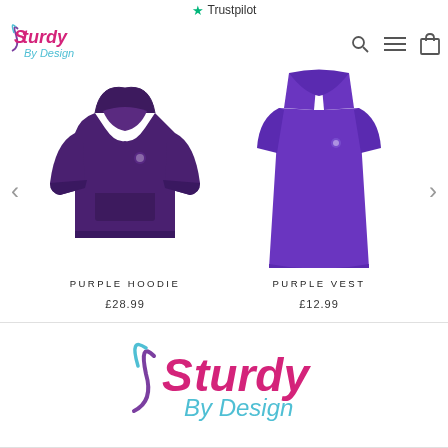★ Trustpilot
[Figure (logo): Sturdy By Design brand logo - small version in navigation bar]
[Figure (photo): Purple hoodie product photo]
PURPLE HOODIE
£28.99
[Figure (photo): Purple vest product photo]
PURPLE VEST
£12.99
[Figure (logo): Sturdy By Design brand logo - large version in footer]